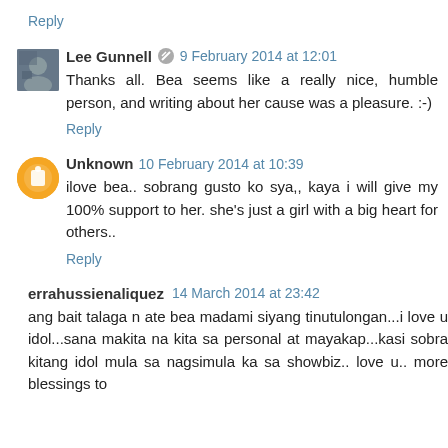Reply
Lee Gunnell  9 February 2014 at 12:01
Thanks all. Bea seems like a really nice, humble person, and writing about her cause was a pleasure. :-)
Reply
Unknown  10 February 2014 at 10:39
ilove bea.. sobrang gusto ko sya,, kaya i will give my 100% support to her. she's just a girl with a big heart for others..
Reply
errahussienaliquez  14 March 2014 at 23:42
ang bait talaga n ate bea madami siyang tinutulongan...i love u idol...sana makita na kita sa personal at mayakap...kasi sobra kitang idol mula sa nagsimula ka sa showbiz.. love u.. more blessings to